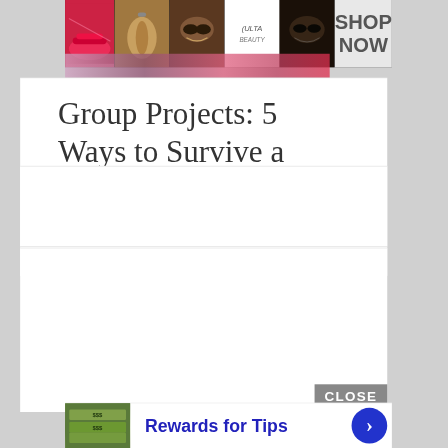[Figure (screenshot): Ulta Beauty advertisement banner with makeup images (lipstick, brush, eye, logo, smoky eye) and SHOP NOW button]
Group Projects: 5 Ways to Survive a Team Assignment in College
[Figure (screenshot): Empty white content block (advertisement space)]
[Figure (screenshot): Empty white content block with CLOSE button]
[Figure (screenshot): Bottom advertisement banner: Rewards for Tips with money image and blue arrow button]